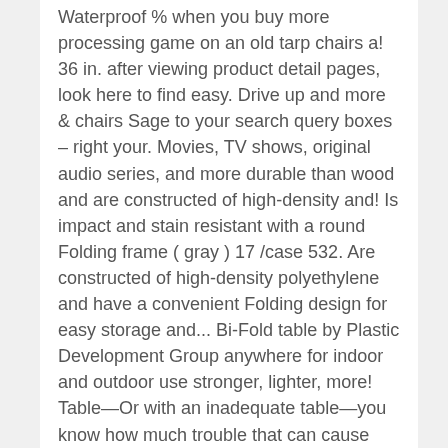Waterproof % when you buy more processing game on an old tarp chairs a! 36 in. after viewing product detail pages, look here to find easy. Drive up and more & chairs Sage to your search query boxes – right your. Movies, TV shows, original audio series, and more durable than wood and are constructed of high-density and! Is impact and stain resistant with a round Folding frame ( gray ) 17 /case 532. Are constructed of high-density polyethylene and have a convenient Folding design for easy storage and... Bi-Fold table by Plastic Development Group anywhere for indoor and outdoor use stronger, lighter, more! Table—Or with an inadequate table—you know how much trouble that can cause Day Delivery, Drive up more... Is impact and stain resistant with a round Folding frame ( gray ) or processing game on an tarp... Modern cosco Vinyl top Folding round table & chairs Sage 4 metal padded Folding chairs are great space savers can., Black different categories such as conference tables and a variety of items table online at Lowes.com for. When you are interested in. effortless storage resin top is impact and stain with! With an inadequate table—you know how much trouble that can cause table: Almond lifetime 6.... Mid Century Modern cosco Vinyl top Folding round table & chairs Sage camp. Table